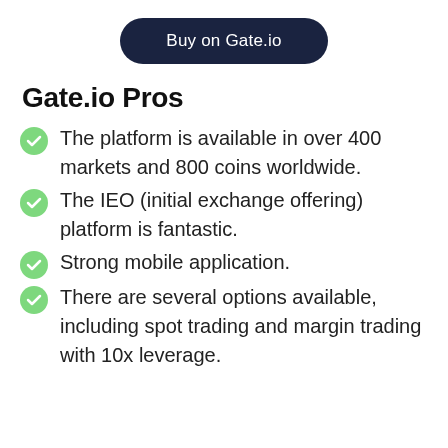[Figure (other): Dark navy rounded button labeled 'Buy on Gate.io']
Gate.io Pros
The platform is available in over 400 markets and 800 coins worldwide.
The IEO (initial exchange offering) platform is fantastic.
Strong mobile application.
There are several options available, including spot trading and margin trading with 10x leverage.